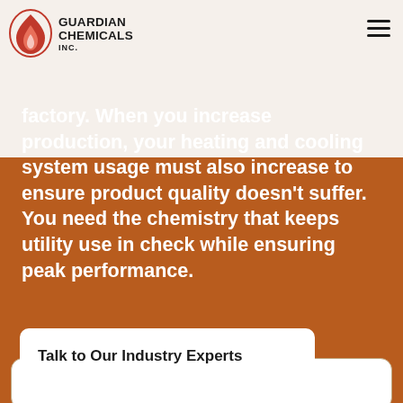[Figure (logo): Guardian Chemicals Inc. logo with red flame/droplet icon]
In any manufacturing setting, it's integral that all systems run efficiently, not just your production machinery, but also the systems that support your factory. When you increase production, your heating and cooling system usage must also increase to ensure product quality doesn't suffer. You need the chemistry that keeps utility use in check while ensuring peak performance.
Talk to Our Industry Experts